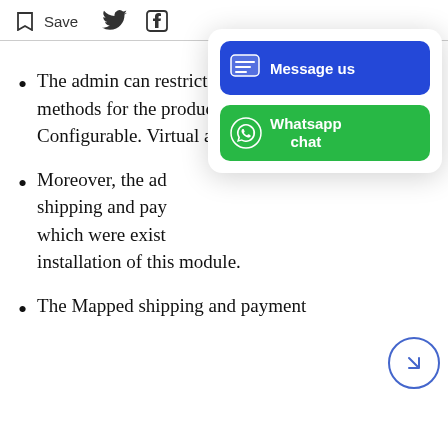Save  [Twitter icon]  [Facebook icon]
The admin can restrict the payment and shipping methods for the product types – Simple, Configurable. Virtual and downloadable.
Moreover, the admin can map the shipping and payment methods which were existing before installation of this module.
The Mapped shipping and payment